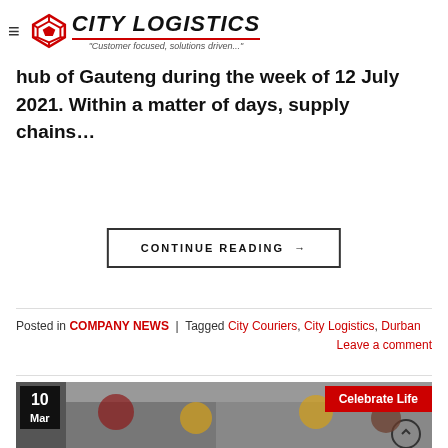City Logistics — Customer focused, solutions driven...
family, we certainly never expected to witness, or fall victim to kind of widespread devastation that ravaged our beautiful home province of – the economic hub of Gauteng during the week of 12 July 2021. Within a matter of days, supply chains…
CONTINUE READING →
Posted in COMPANY NEWS | Tagged City Couriers, City Logistics, Durban
Leave a comment
[Figure (photo): People wearing masks and aprons at an outdoor cooking event, with a date badge showing 10 Mar and a red banner reading Celebrate Life]